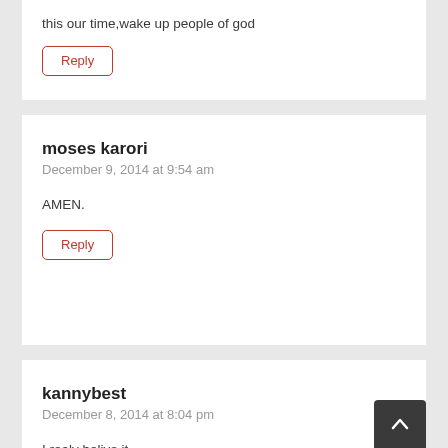this our time,wake up people of god
Reply
moses karori
December 9, 2014 at 9:54 am
AMEN.
Reply
kannybest
December 8, 2014 at 8:04 pm
I realy belive it.
Reply